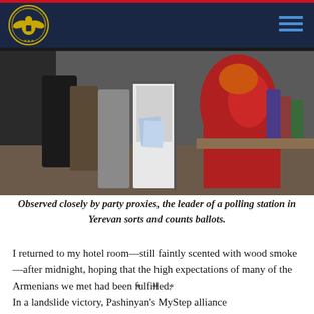Commission on Security and Cooperation in Europe
[Figure (photo): People at a polling station in Yerevan; the leader of the station sorts and counts ballots, observed by party proxies. A woman in a red jacket is visible on the right.]
Observed closely by party proxies, the leader of a polling station in Yerevan sorts and counts ballots.
I returned to my hotel room—still faintly scented with wood smoke—after midnight, hoping that the high expectations of many of the Armenians we met had been fulfilled.
* * *
In a landslide victory, Pashinyan's MyStep alliance